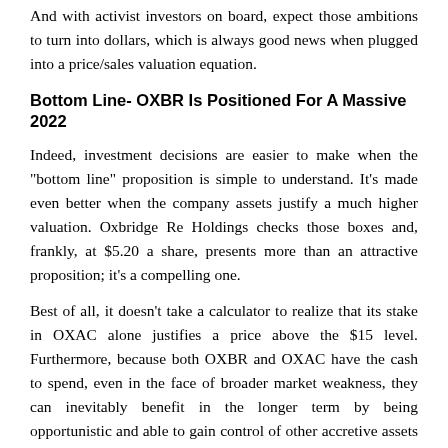And with activist investors on board, expect those ambitions to turn into dollars, which is always good news when plugged into a price/sales valuation equation.
Bottom Line- OXBR Is Positioned For A Massive 2022
Indeed, investment decisions are easier to make when the "bottom line" proposition is simple to understand. It's made even better when the company assets justify a much higher valuation. Oxbridge Re Holdings checks those boxes and, frankly, at $5.20 a share, presents more than an attractive proposition; it's a compelling one.
Best of all, it doesn't take a calculator to realize that its stake in OXAC alone justifies a price above the $15 level. Furthermore, because both OXBR and OXAC have the cash to spend, even in the face of broader market weakness, they can inevitably benefit in the longer term by being opportunistic and able to gain control of other accretive assets at more aggressive prices.